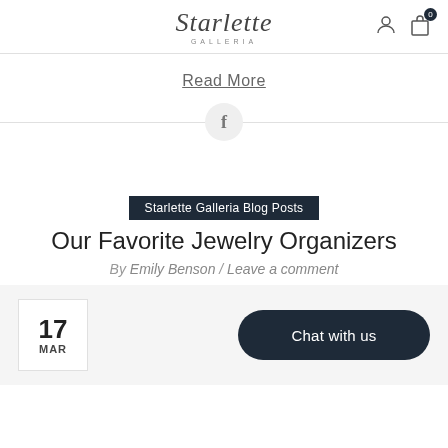Starlette Galleria
Read More
[Figure (other): Horizontal divider with Facebook icon circle in center]
Starlette Galleria Blog Posts
Our Favorite Jewelry Organizers
By Emily Benson / Leave a comment
17 MAR
Chat with us